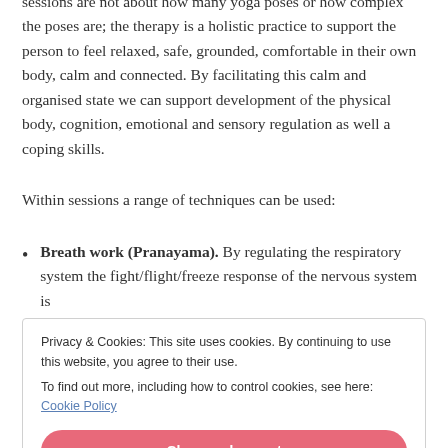sessions are not about how many yoga poses or how complex the poses are; the therapy is a holistic practice to support the person to feel relaxed, safe, grounded, comfortable in their own body, calm and connected. By facilitating this calm and organised state we can support development of the physical body, cognition, emotional and sensory regulation as well a coping skills.
Within sessions a range of techniques can be used:
Breath work (Pranayama). By regulating the respiratory system the fight/flight/freeze response of the nervous system is
Privacy & Cookies: This site uses cookies. By continuing to use this website, you agree to their use.
To find out more, including how to control cookies, see here: Cookie Policy
[Close and accept]
limitations whilst increasing strength and flexibility